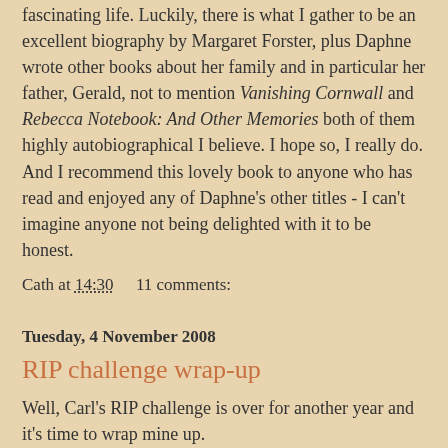fascinating life. Luckily, there is what I gather to be an excellent biography by Margaret Forster, plus Daphne wrote other books about her family and in particular her father, Gerald, not to mention Vanishing Cornwall and Rebecca Notebook: And Other Memories both of them highly autobiographical I believe. I hope so, I really do. And I recommend this lovely book to anyone who has read and enjoyed any of Daphne's other titles - I can't imagine anyone not being delighted with it to be honest.
Cath at 14:30    11 comments:
Tuesday, 4 November 2008
RIP challenge wrap-up
Well, Carl's RIP challenge is over for another year and it's time to wrap mine up.
[Figure (photo): Partial image of a dark photo, appears to show letters or eyes in white against black background]